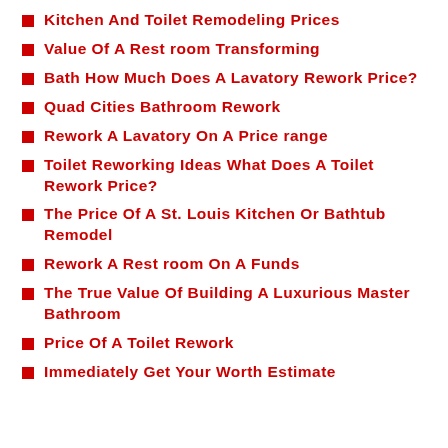Kitchen And Toilet Remodeling Prices
Value Of A Rest room Transforming
Bath How Much Does A Lavatory Rework Price?
Quad Cities Bathroom Rework
Rework A Lavatory On A Price range
Toilet Reworking Ideas What Does A Toilet Rework Price?
The Price Of A St. Louis Kitchen Or Bathtub Remodel
Rework A Rest room On A Funds
The True Value Of Building A Luxurious Master Bathroom
Price Of A Toilet Rework
Immediately Get Your Worth Estimate